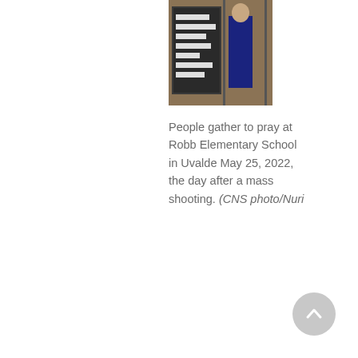[Figure (photo): Photo showing people near a sign outside Robb Elementary School; a person in dark clothing is visible standing by a brick wall.]
People gather to pray at Robb Elementary School in Uvalde May 25, 2022, the day after a mass shooting. (CNS photo/Nuri